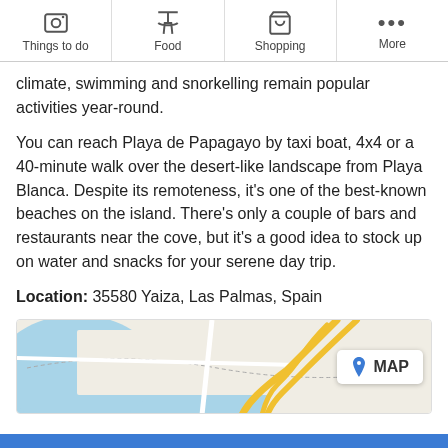Things to do | Food | Shopping | More
climate, swimming and snorkelling remain popular activities year-round.
You can reach Playa de Papagayo by taxi boat, 4x4 or a 40-minute walk over the desert-like landscape from Playa Blanca. Despite its remoteness, it’s one of the best-known beaches on the island. There’s only a couple of bars and restaurants near the cove, but it’s a good idea to stock up on water and snacks for your serene day trip.
Location: 35580 Yaiza, Las Palmas, Spain
[Figure (map): Street map showing coastal area with blue water, gray roads and yellow highlighted route, with MAP button overlay]